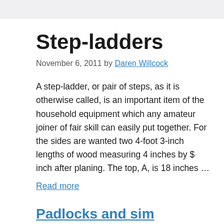Step-ladders
November 6, 2011 by Daren Willcock
A step-ladder, or pair of steps, as it is otherwise called, is an important item of the household equipment which any amateur joiner of fair skill can easily put together. For the sides are wanted two 4-foot 3-inch lengths of wood measuring 4 inches by $ inch after planing. The top, A, is 18 inches …
Read more